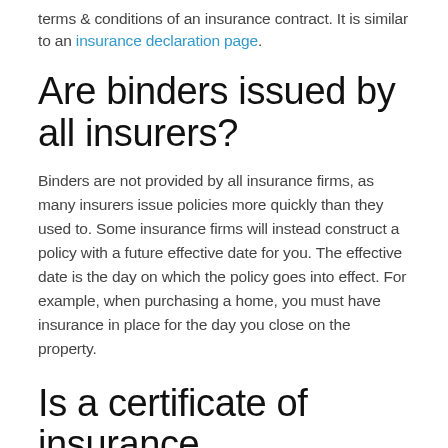terms & conditions of an insurance contract. It is similar to an insurance declaration page.
Are binders issued by all insurers?
Binders are not provided by all insurance firms, as many insurers issue policies more quickly than they used to. Some insurance firms will instead construct a policy with a future effective date for you. The effective date is the day on which the policy goes into effect. For example, when purchasing a home, you must have insurance in place for the day you close on the property.
Is a certificate of insurance